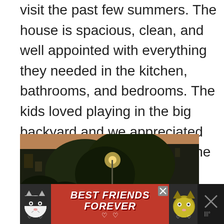visit the past few summers. The house is spacious, clean, and well appointed with everything they needed in the kitchen, bathrooms, and bedrooms. The kids loved playing in the big backyard and we appreciated the comfy chairs and deck.The covered garage and parking area were convenient for the large van we rented. The owners are friendly and welcoming. Great home in a great location." – Eric
[Figure (photo): Outdoor scene at dusk showing trees lit by a street lamp, with a building visible in the background.]
[Figure (screenshot): Advertisement banner reading BEST FRIENDS FOREVER with cat mascots on either side on a red background, with a close button and a dark right panel.]